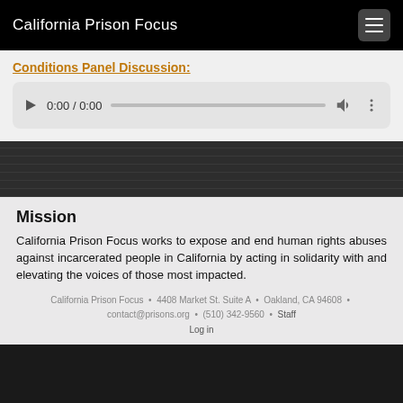California Prison Focus
Conditions Panel Discussion:
[Figure (other): Audio player widget showing 0:00 / 0:00 with play button, progress bar, volume icon, and more options icon]
Mission
California Prison Focus works to expose and end human rights abuses against incarcerated people in California by acting in solidarity with and elevating the voices of those most impacted.
California Prison Focus • 4408 Market St. Suite A • Oakland, CA 94608 • contact@prisons.org • (510) 342-9560 • Staff Log in